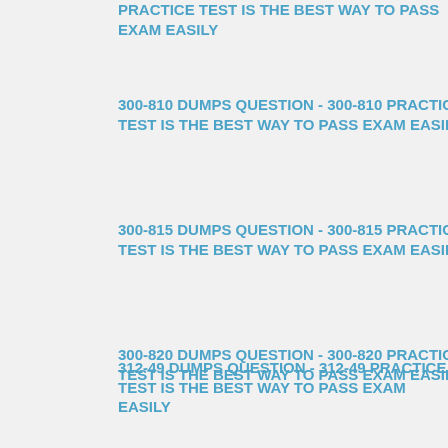PRACTICE TEST IS THE BEST WAY TO PASS EXAM EASILY
300-810 DUMPS QUESTION - 300-810 PRACTICE TEST IS THE BEST WAY TO PASS EXAM EASILY
300-815 DUMPS QUESTION - 300-815 PRACTICE TEST IS THE BEST WAY TO PASS EXAM EASILY
300-820 DUMPS QUESTION - 300-820 PRACTICE TEST IS THE BEST WAY TO PASS EXAM EASILY
312-49 DUMPS QUESTION - 312-49 PRACTICE TEST IS THE BEST WAY TO PASS EXAM EASILY
3V0-752 DUMPS QUESTION - 3V0-752
answers which depict the pattern and criterion of actual 700-765 Dumps question That’s how you’ll practice with relevant and closer to